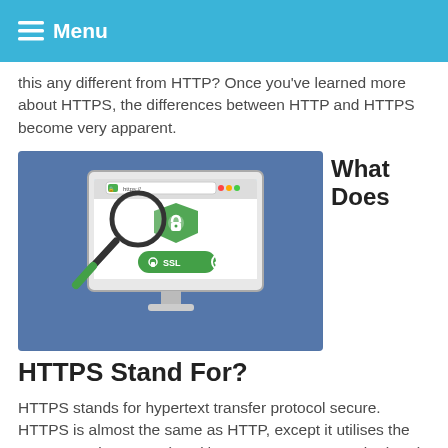≡ Menu
this any different from HTTP? Once you've learned more about HTTPS, the differences between HTTP and HTTPS become very apparent.
[Figure (illustration): Illustration of a desktop computer monitor showing a browser with https:// in the address bar, a magnifying glass, a green shield with a lock icon, and a green SSL badge with a checkmark. Background is blue denim texture.]
What Does HTTPS Stand For?
HTTPS stands for hypertext transfer protocol secure. HTTPS is almost the same as HTTP, except it utilises the Secure Socket Layer (SSL)/Transport Layer Security (TLS) protocol. These technologies encrypt the data